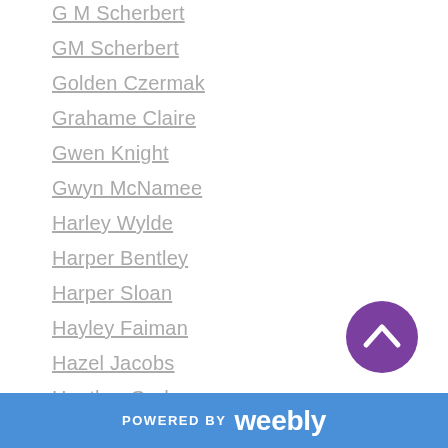G M Scherbert
GM Scherbert
Golden Czermak
Grahame Claire
Gwen Knight
Gwyn McNamee
Harley Wylde
Harper Bentley
Harper Sloan
Hayley Faiman
Hazel Jacobs
Heather Graham
Heather Guimond
Heatherly Bell
Heather M Orgeron
Hedonist Six
Heidi McLaughlin
POWERED BY weebly